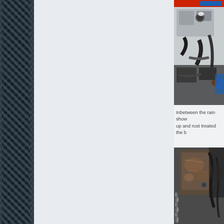[Figure (photo): Carbon fiber textured sidebar on the left edge of the page, dark blue-grey woven pattern]
[Figure (photo): Car engine bay photo showing silver engine components, blue Subaru badge/logo, coolant reservoir cap, various hoses and an orange component visible]
Inbetween the rain showers I cleaned up and rust treated the b
[Figure (photo): Undercarriage or suspension/body area of a car showing rusty metal components, a suspension spring, and various mechanical parts]